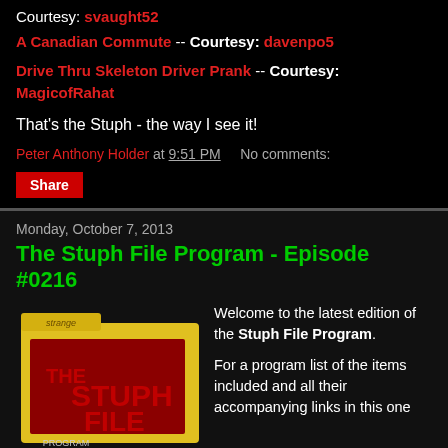Courtesy: svaught52
A Canadian Commute -- Courtesy: davenpo5
Drive Thru Skeleton Driver Prank -- Courtesy: MagicofRahat
That's the Stuph - the way I see it!
Peter Anthony Holder at 9:51 PM    No comments:
Share
Monday, October 7, 2013
The Stuph File Program - Episode #0216
[Figure (illustration): Yellow folder logo for The Stuph File Program with 'strange' written on the tab and 'THE STUPH FILE' text in red on a dark red background]
Welcome to the latest edition of the Stuph File Program.

For a program list of the items included and all their accompanying links in this one